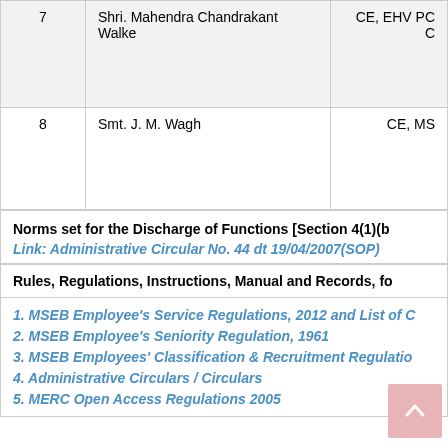| # | Name | Designation |
| --- | --- | --- |
| 7 | Shri. Mahendra Chandrakant Walke | CE, EHV PC C… |
| 8 | Smt. J. M. Wagh | CE, MS… |
Norms set for the Discharge of Functions [Section 4(1)(b…
Link:  Administrative Circular No. 44 dt 19/04/2007(SOP)
Rules, Regulations, Instructions, Manual and Records, fo…
1. MSEB Employee's Service Regulations, 2012 and List of C…
2. MSEB Employee's Seniority Regulation, 1961
3. MSEB Employees' Classification & Recruitment Regulatio…
4. Administrative Circulars / Circulars
5. MERC Open Access Regulations 2005